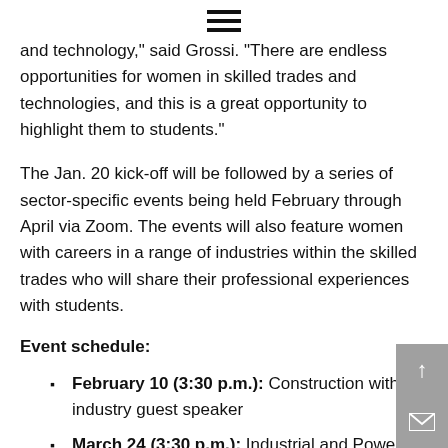≡
and technology," said Grossi. "There are endless opportunities for women in skilled trades and technologies, and this is a great opportunity to highlight them to students."
The Jan. 20 kick-off will be followed by a series of sector-specific events being held February through April via Zoom. The events will also feature women with careers in a range of industries within the skilled trades who will share their professional experiences with students.
Event schedule:
February 10 (3:30 p.m.): Construction with industry guest speaker
March 24 (3:30 p.m.): Industrial and Power Technologies with Kate Parr, Industrial Mechanic Millwright, Apprentice, Skills Ontario